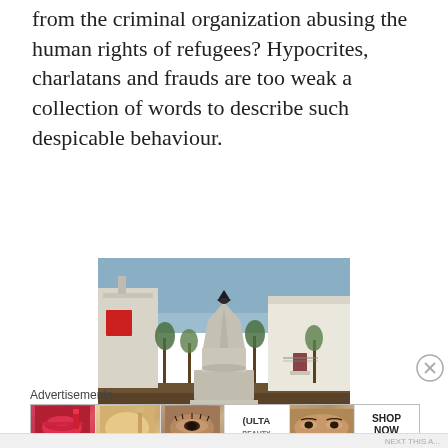from the criminal organization abusing the human rights of refugees? Hypocrites, charlatans and frauds are too weak a collection of words to describe such despicable behaviour.
[Figure (photo): Outdoor photograph of a stone monument or war memorial with a bird (eagle) on top, set in a town square. White buildings visible in the background, trees planted around, reddish-brown ground cover.]
Advertisements
[Figure (screenshot): Advertisement banner for ULTA beauty products showing close-up images of lips with red lipstick, a makeup brush, an eye with makeup, the ULTA logo, another eye close-up, and 'SHOP NOW' text.]